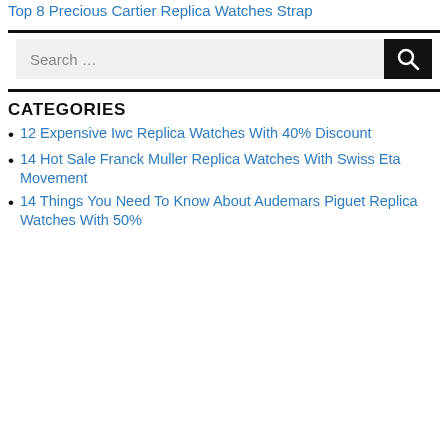Top 8 Precious Cartier Replica Watches Strap
[Figure (other): Search bar with text 'Search …' and a black search button with magnifying glass icon]
CATEGORIES
12 Expensive Iwc Replica Watches With 40% Discount
14 Hot Sale Franck Muller Replica Watches With Swiss Eta Movement
14 Things You Need To Know About Audemars Piguet Replica Watches With 50%